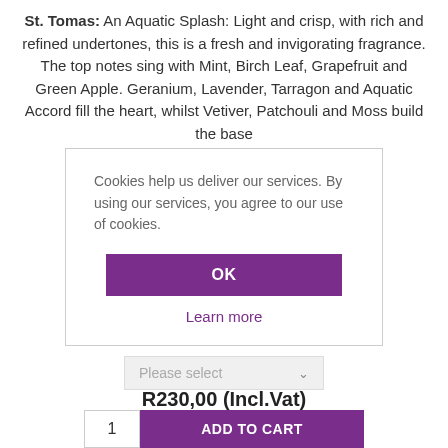St. Tomas: An Aquatic Splash: Light and crisp, with rich and refined undertones, this is a fresh and invigorating fragrance. The top notes sing with Mint, Birch Leaf, Grapefruit and Green Apple. Geranium, Lavender, Tarragon and Aquatic Accord fill the heart, whilst Vetiver, Patchouli and Moss build the base
Cookies help us deliver our services. By using our services, you agree to our use of cookies.
OK
Learn more
Please select
R230,00 (Incl.Vat)
R 200.00 (Excl.Vat)
1   ADD TO CART